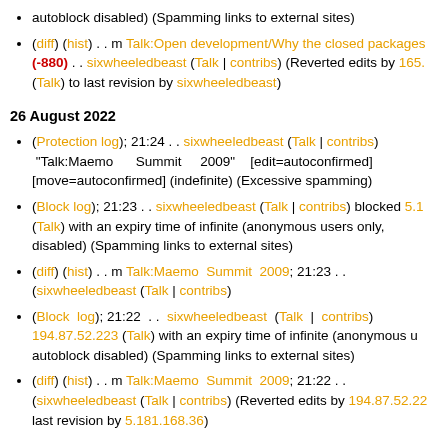autoblock disabled) (Spamming links to external sites)
(diff) (hist) . . m Talk:Open development/Why the closed packages (-880) . . sixwheeledbeast (Talk | contribs) (Reverted edits by 165. (Talk) to last revision by sixwheeledbeast)
26 August 2022
(Protection log); 21:24 . . sixwheeledbeast (Talk | contribs) "Talk:Maemo Summit 2009" [edit=autoconfirmed] [move=autoconfirmed] (indefinite) (Excessive spamming)
(Block log); 21:23 . . sixwheeledbeast (Talk | contribs) blocked 5.1 (Talk) with an expiry time of infinite (anonymous users only, disabled) (Spamming links to external sites)
(diff) (hist) . . m Talk:Maemo Summit 2009; 21:23 . . ( sixwheeledbeast (Talk | contribs)
(Block log); 21:22 . . sixwheeledbeast (Talk | contribs) 194.87.52.223 (Talk) with an expiry time of infinite (anonymous u autoblock disabled) (Spamming links to external sites)
(diff) (hist) . . m Talk:Maemo Summit 2009; 21:22 . . ( sixwheeledbeast (Talk | contribs) (Reverted edits by 194.87.52.22 last revision by 5.181.168.36)
17 August 2022